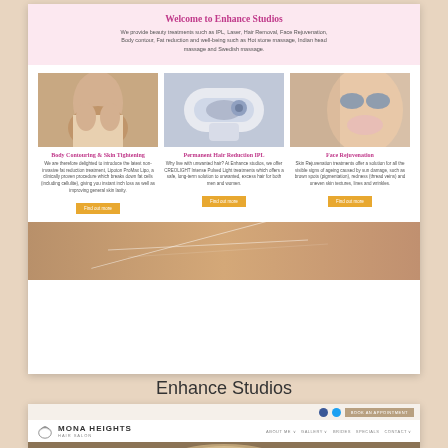[Figure (screenshot): Screenshot of Enhance Studios beauty treatment website showing pink header with welcome message, three treatment columns (Body Contouring & Skin Tightening, Permanent Hair Reduction IPL, Face Rejuvenation) each with photo, description text and orange Find Out More buttons, and a tan/beige banner at bottom]
Enhance Studios
[Figure (screenshot): Screenshot of Mona Heights Hair Salon website showing top bar with Facebook/Twitter icons and Book An Appointment button, navigation bar with logo and menu items (About Me, Gallery, Brides, Specials, Contact), and beginning of hero image with blonde hair model]